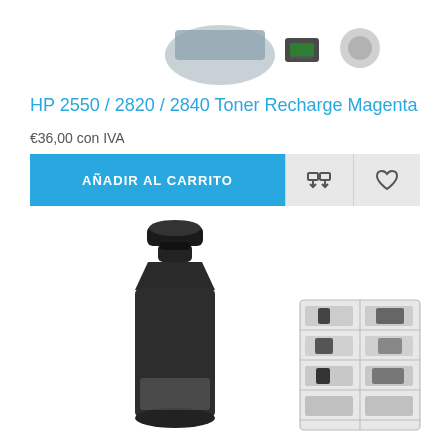[Figure (photo): Small product component images (cartridge parts, chip, roller) at top of page]
HP 2550 / 2820 / 2840 Toner Recharge Magenta
€36,00 con IVA
AÑADIR AL CARRITO
[Figure (photo): Toner refill bottle (black) with instruction card/sheet showing product images]